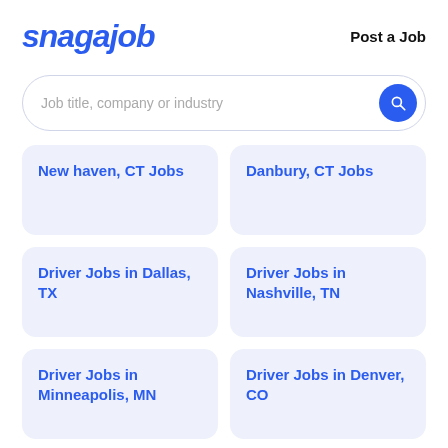[Figure (logo): Snagajob logo in bold italic blue text]
Post a Job
Job title, company or industry
New haven, CT Jobs
Danbury, CT Jobs
Driver Jobs in Dallas, TX
Driver Jobs in Nashville, TN
Driver Jobs in Minneapolis, MN
Driver Jobs in Denver, CO